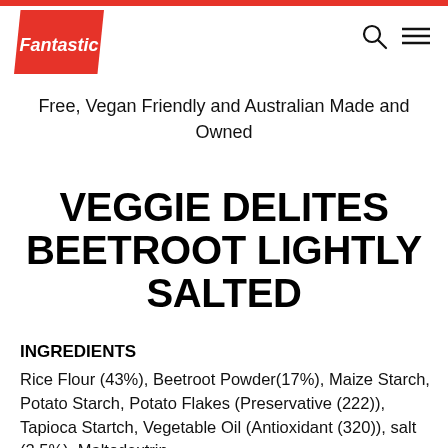[Figure (logo): Fantastic brand logo — white italic text on red parallelogram/flag shape]
Free, Vegan Friendly and Australian Made and Owned
VEGGIE DELITES BEETROOT LIGHTLY SALTED
INGREDIENTS
Rice Flour (43%), Beetroot Powder(17%), Maize Starch, Potato Starch, Potato Flakes (Preservative (222)), Tapioca Startch, Vegetable Oil (Antioxidant (320)), salt (2.5%), Maltodextrin